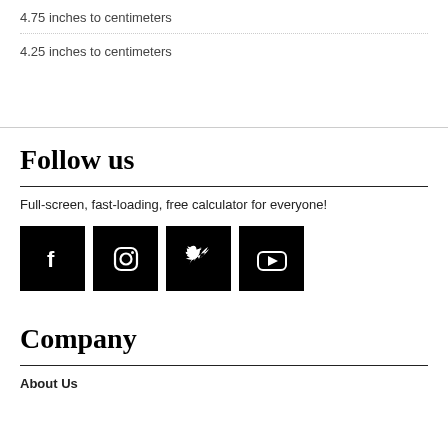4.75 inches to centimeters
4.25 inches to centimeters
Follow us
Full-screen, fast-loading, free calculator for everyone!
[Figure (other): Social media icons: Facebook, Instagram, Twitter, YouTube — white icons on black square backgrounds]
Company
About Us